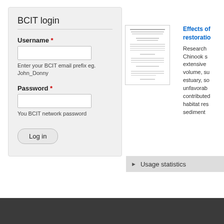BCIT login
Username *
Enter your BCIT email prefix eg. John_Donny
Password *
You BCIT network password
Log in
[Figure (screenshot): Thumbnail preview of a BCIT document cover page with small text]
Effects of restoration Research Chinook s extensive volume, su estuary, so unfavorab contribute habitat res sediment
Usage statistics